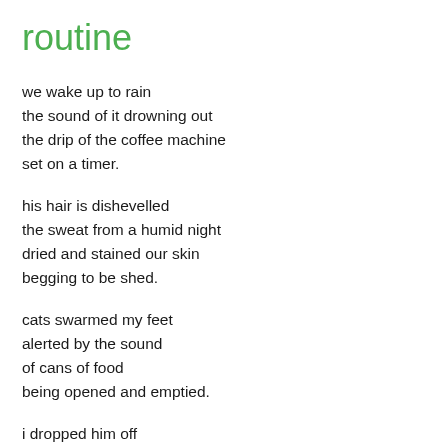routine
we wake up to rain
the sound of it drowning out
the drip of the coffee machine
set on a timer.
his hair is dishevelled
the sweat from a humid night
dried and stained our skin
begging to be shed.
cats swarmed my feet
alerted by the sound
of cans of food
being opened and emptied.
i dropped him off
outside the front door of his office
with a departure kiss
to last all day.